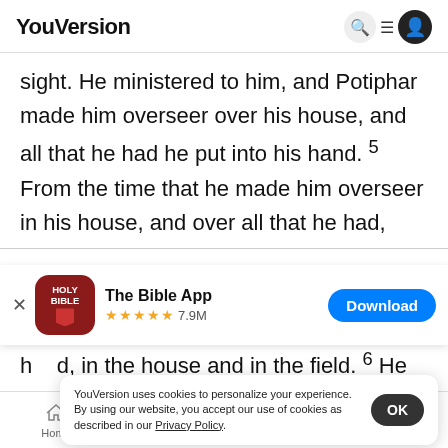YouVersion
sight. He ministered to him, and Potiphar made him overseer over his house, and all that he had he put into his hand. 5 From the time that he made him overseer in his house, and over all that he had,
[Figure (screenshot): The Bible App download banner with Holy Bible icon, star rating 7.9M, and Download button]
h d, in the house and in the field. 6 He lef that he himself with anything, except for the food which he
YouVersion uses cookies to personalize your experience. By using our website, you accept our use of cookies as described in our Privacy Policy.
Home  Bible  Plans  Videos